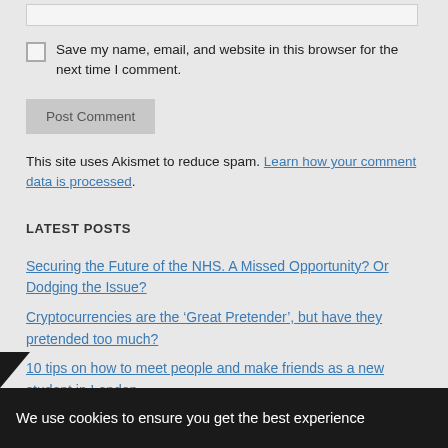[input box]
Save my name, email, and website in this browser for the next time I comment.
Post Comment
This site uses Akismet to reduce spam. Learn how your comment data is processed.
LATEST POSTS
Securing the Future of the NHS. A Missed Opportunity? Or Dodging the Issue?
Cryptocurrencies are the ‘Great Pretender’, but have they pretended too much?
10 tips on how to meet people and make friends as a new student in London
We use cookies to ensure you get the best experience